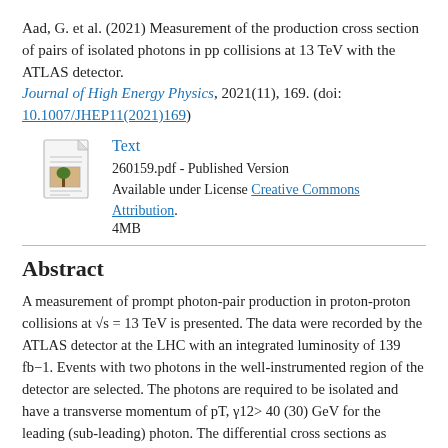Aad, G. et al. (2021) Measurement of the production cross section of pairs of isolated photons in pp collisions at 13 TeV with the ATLAS detector. Journal of High Energy Physics, 2021(11), 169. (doi: 10.1007/JHEP11(2021)169)
[Figure (other): Document/PDF file icon with a tree image thumbnail]
Text
260159.pdf - Published Version
Available under License Creative Commons Attribution.
4MB
Abstract
A measurement of prompt photon-pair production in proton-proton collisions at √s = 13 TeV is presented. The data were recorded by the ATLAS detector at the LHC with an integrated luminosity of 139 fb−1. Events with two photons in the well-instrumented region of the detector are selected. The photons are required to be isolated and have a transverse momentum of pT, γ12> 40 (30) GeV for the leading (sub-leading) photon. The differential cross sections as functions of several observables for the diphoton system are measured and compared with theoretical predictions